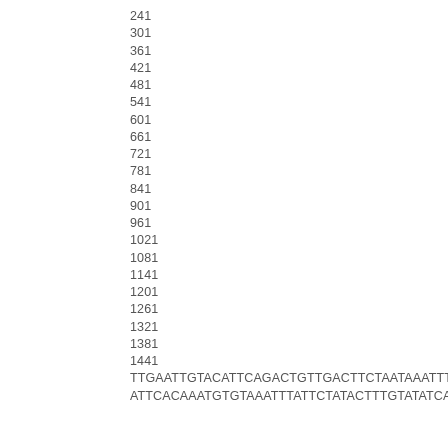241
301
361
421
481
541
601
661
721
781
841
901
961
1021
1081
1141
1201
1261
1321
1381
1441
TTGAATTGTACATTCAGACTGTTGACTTCTAATAAATTTGACATGA
ATTCACAAATGTGTAAATTTATTCTATACTTTGTATATCATAGTAAT